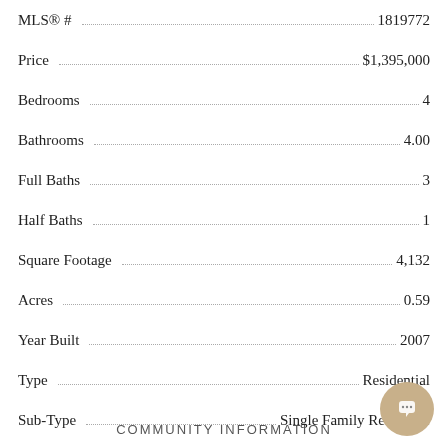| Field | Value |
| --- | --- |
| MLS® # | 1819772 |
| Price | $1,395,000 |
| Bedrooms | 4 |
| Bathrooms | 4.00 |
| Full Baths | 3 |
| Half Baths | 1 |
| Square Footage | 4,132 |
| Acres | 0.59 |
| Year Built | 2007 |
| Type | Residential |
| Sub-Type | Single Family Residence |
| Style | Rambler/Ranch |
| Status | Active |
COMMUNITY INFORMATION